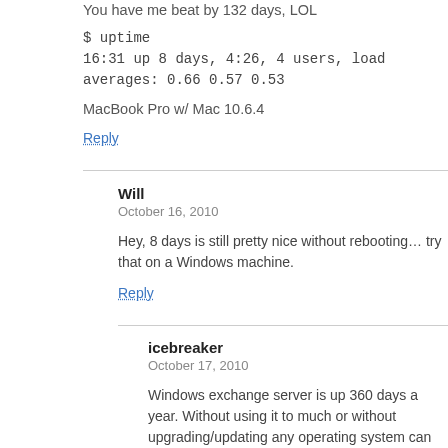You have me beat by 132 days, LOL
$ uptime
16:31 up 8 days, 4:26, 4 users, load averages: 0.66 0.57 0.53
MacBook Pro w/ Mac 10.6.4
Reply
Will
October 16, 2010
Hey, 8 days is still pretty nice without rebooting… try that on a Windows machine.
Reply
icebreaker
October 17, 2010
Windows exchange server is up 360 days a year. Without using it to much or without upgrading/updating any operating system can last that long.
Reply